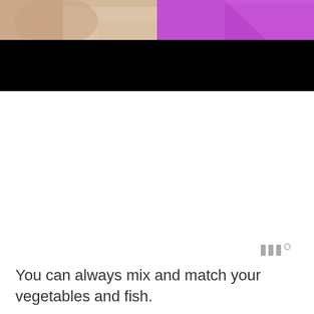[Figure (photo): Top portion shows a partial image: left half is a skin-toned/beige photo (person's shoulder/neck area), right half is a solid purple/violet rectangle. Below is a solid black horizontal banner strip.]
[Figure (logo): Small gray icon resembling three vertical bars with a degree symbol, positioned at the right side, resembling a weather or measurement app logo.]
You can always mix and match your vegetables and fish.